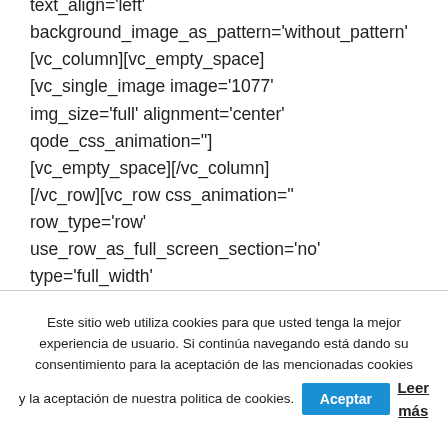text_align='left'
background_image_as_pattern='without_pattern'
[vc_column][vc_empty_space]
[vc_single_image image='1077'
img_size='full' alignment='center'
qode_css_animation='']
[vc_empty_space][/vc_column]
[/vc_row][vc_row css_animation=''
row_type='row'
use_row_as_full_screen_section='no'
type='full_width'
Este sitio web utiliza cookies para que usted tenga la mejor experiencia de usuario. Si continúa navegando está dando su consentimiento para la aceptación de las mencionadas cookies y la aceptación de nuestra politica de cookies.
Aceptar
Leer más